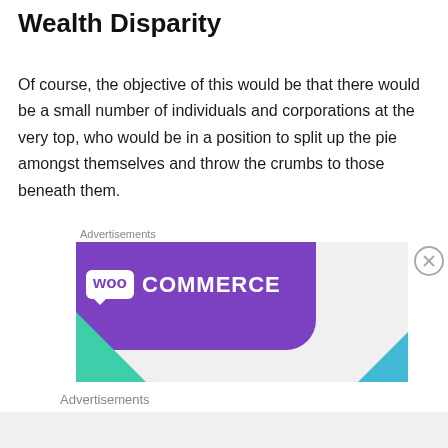Wealth Disparity
Of course, the objective of this would be that there would be a small number of individuals and corporations at the very top, who would be in a position to split up the pie amongst themselves and throw the crumbs to those beneath them.
Advertisements
[Figure (illustration): WooCommerce advertisement banner with purple background, white WOO speech-bubble logo, COMMERCE text in white, green triangle bottom-left, blue triangle bottom-right]
Advertisements